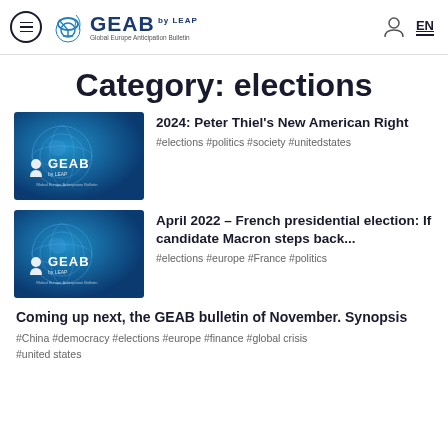GEAB by LEAP — Global Europe Anticipation Bulletin — EN
Category: elections
[Figure (logo): GEAB by LEAP publication thumbnail with globe and radar logo on blue background]
2024: Peter Thiel's New American Right
#elections #politics #society #unitedstates
[Figure (logo): GEAB by LEAP publication thumbnail with globe and radar logo on blue background]
April 2022 – French presidential election: If candidate Macron steps back...
#elections #europe #France #politics
Coming up next, the GEAB bulletin of November. Synopsis
#China #democracy #elections #europe #finance #global crisis #united states